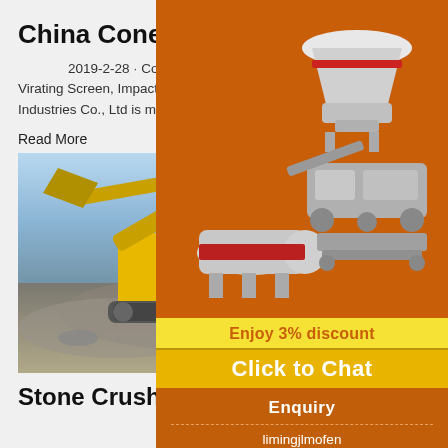China Cone Crusher manufacturer, Jaw Crusher, Stone ...
2019-2-28 · Cone Crusher, Jaw Crusher, Stone Crusher, Vsi Sand Making Machine, Ball Mill, Mobile Crusher, Virating Screen, Impact Crusher, Stone Crushing Line, Sand Making Line Company Introduction Shanghai Veking Heavy Industries Co., Ltd is mining equipment manufacturer in Shanghai, an area of 30 thousand m2 which includes 15 ...
Read More
[Figure (photo): Yellow excavator/crusher machine working on a pile of stone rubble against a blue sky]
[Figure (illustration): Orange sidebar advertisement showing mining machinery (cone crusher, mobile crusher, ball mill) with 'Enjoy 3% discount' and 'Click to Chat' buttons, Enquiry section, and email limingjlmofen@sina.com]
Stone Crusher Plant - Business Dire... India